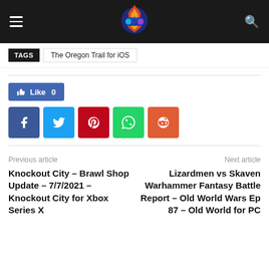Gaming site header with logo, hamburger menu and search icon
TAGS | The Oregon Trail for iOS
[Figure (other): Like 0 Facebook button]
[Figure (infographic): Social share buttons: Facebook, Twitter, Pinterest, WhatsApp, Reddit]
Previous article
Knockout City – Brawl Shop Update – 7/7/2021 – Knockout City for Xbox Series X
Next article
Lizardmen vs Skaven Warhammer Fantasy Battle Report – Old World Wars Ep 87 – Old World for PC